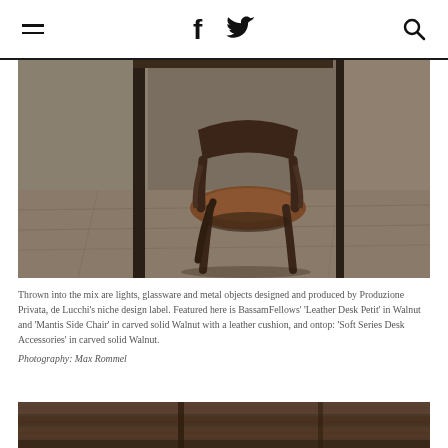Navigation header with hamburger menu, Facebook and Twitter icons, and search icon
[Figure (photo): A wooden chair with a leather cushion (BassamFellows 'Mantis Side Chair' in carved solid Walnut) placed next to a desk, photographed in a rustic stone-floored space.]
Thrown into the mix are lights, glassware and metal objects designed and produced by Produzione Privata, de Lucchi's niche design label. Featured here is BassamFellows' 'Leather Desk Petit' in Walnut and 'Mantis Side Chair' in carved solid Walnut with a leather cushion, and ontop: 'Soft Series Desk Accessories' in carved solid Walnut. Photography: Max Rommel
[Figure (photo): Partial view of another photograph showing a wooden interior or furniture detail, cropped at bottom of page.]